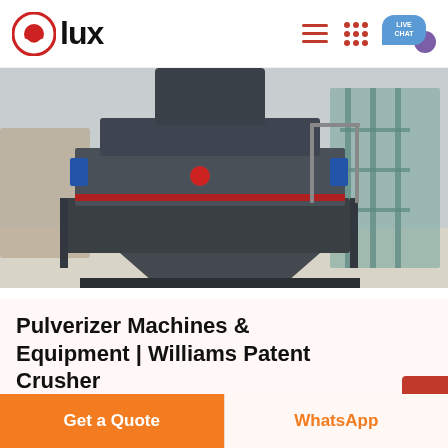lux
[Figure (photo): Industrial pulverizer machine in a factory setting, large grey metal equipment with structural frame, red accents, industrial background.]
Pulverizer Machines & Equipment | Williams Patent Crusher
Learn more about our roller mill pulverizers and
Get a Quote
WhatsApp